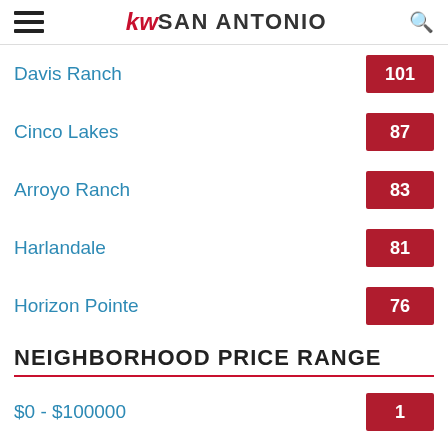kw SAN ANTONIO
Davis Ranch | 101
Cinco Lakes | 87
Arroyo Ranch | 83
Harlandale | 81
Horizon Pointe | 76
NEIGHBORHOOD PRICE RANGE
$0 - $100000 | 1
$250000 - $350000 | 3
$350000 - $500000 | 41